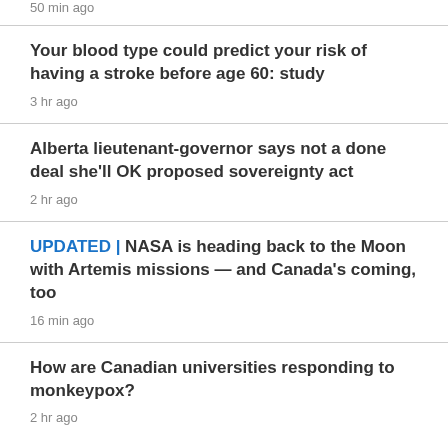50 min ago
Your blood type could predict your risk of having a stroke before age 60: study
3 hr ago
Alberta lieutenant-governor says not a done deal she'll OK proposed sovereignty act
2 hr ago
UPDATED | NASA is heading back to the Moon with Artemis missions — and Canada's coming, too
16 min ago
How are Canadian universities responding to monkeypox?
2 hr ago